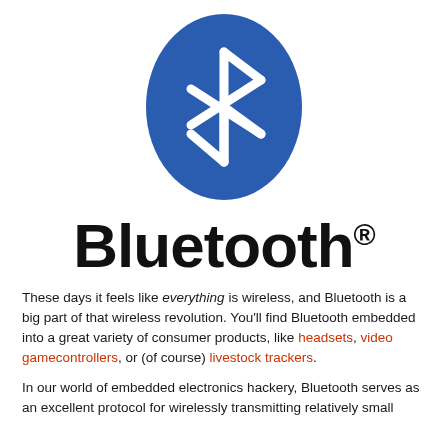[Figure (logo): Bluetooth logo: blue oval shape with white Bluetooth symbol (runic letter Hagall combined with Bjarkan) in the center]
Bluetooth®
These days it feels like everything is wireless, and Bluetooth is a big part of that wireless revolution. You'll find Bluetooth embedded into a great variety of consumer products, like headsets, video gamecontrollers, or (of course) livestock trackers.
In our world of embedded electronics hackery, Bluetooth serves as an excellent protocol for wirelessly transmitting relatively small